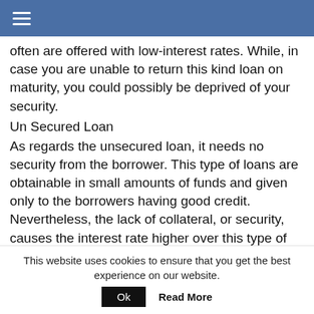≡
often are offered with low-interest rates. While, in case you are unable to return this kind loan on maturity, you could possibly be deprived of your security.
Un Secured Loan
As regards the unsecured loan, it needs no security from the borrower. This type of loans are obtainable in small amounts of funds and given only to the borrowers having good credit. Nevertheless, the lack of collateral, or security, causes the interest rate higher over this type of loan.
Credit Loan
A line of credit loan is a kind of loan when a bank or lender grants some money to a borrower to use for some particular time period. A borrower is permitted to get within a set maximum limit during the period of time decided upon,
This website uses cookies to ensure that you get the best experience on our website.
Ok
Read More